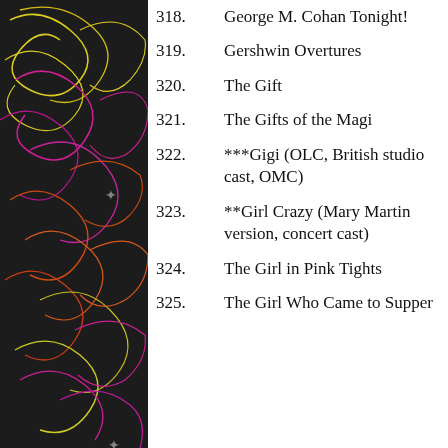[Figure (illustration): Decorative sidebar with dark background and colorful neon swirling patterns in pink, yellow, orange, and red on the left side of the page.]
318. George M. Cohan Tonight!
319. Gershwin Overtures
320. The Gift
321. The Gifts of the Magi
322. ***Gigi (OLC, British studio cast, OMC)
323. **Girl Crazy (Mary Martin version, concert cast)
324. The Girl in Pink Tights
325. The Girl Who Came to Supper